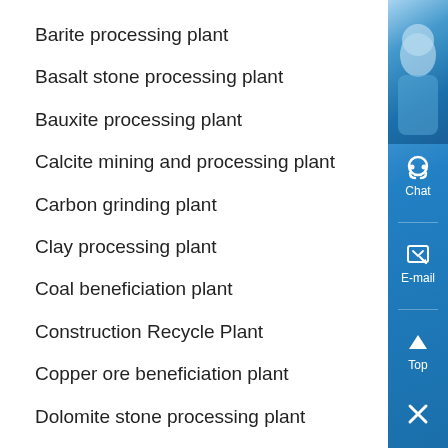Barite processing plant
Basalt stone processing plant
Bauxite processing plant
Calcite mining and processing plant
Carbon grinding plant
Clay processing plant
Coal beneficiation plant
Construction Recycle Plant
Copper ore beneficiation plant
Dolomite stone processing plant
Feldspar processing plant
Feldspar stone processing plant
Gold ore concentration plant
[Figure (illustration): Blue sidebar with chat headset icon, email icon, top arrow icon, and close X icon on a blue gradient background with a photo of a person at the top.]